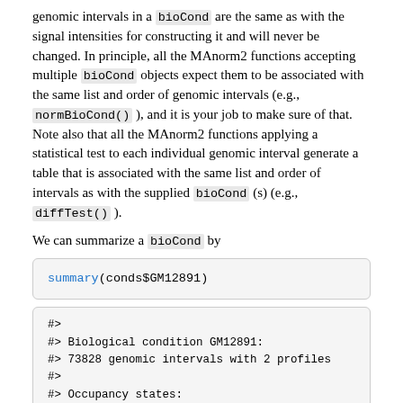genomic intervals in a bioCond are the same as with the signal intensities for constructing it and will never be changed. In principle, all the MAnorm2 functions accepting multiple bioCond objects expect them to be associated with the same list and order of genomic intervals (e.g., normBioCond() ), and it is your job to make sure of that. Note also that all the MAnorm2 functions applying a statistical test to each individual genomic interval generate a table that is associated with the same list and order of intervals as with the supplied bioCond (s) (e.g., diffTest() ).
We can summarize a bioCond by
summary(conds$GM12891)
#>
#> Biological condition GM12891:
#> 73828 genomic intervals with 2 profiles
#>
#> Occupancy states:
#> 57577 (78.0%) of the genomic intervals occupied by the condition
#>